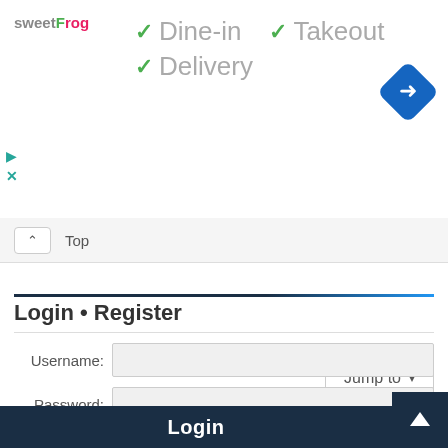[Figure (logo): sweetFrog logo]
✓ Dine-in
✓ Takeout
✓ Delivery
[Figure (illustration): Blue diamond navigation icon with right-turn arrow]
Top
Jump to ▾
Login • Register
Username:
Password:
Remember me
Login